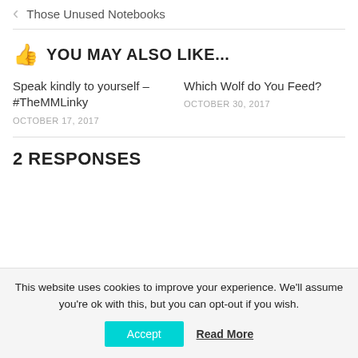< Those Unused Notebooks
👍 YOU MAY ALSO LIKE...
Speak kindly to yourself – #TheMMLinky
OCTOBER 17, 2017
Which Wolf do You Feed?
OCTOBER 30, 2017
2 RESPONSES
This website uses cookies to improve your experience. We'll assume you're ok with this, but you can opt-out if you wish.
Accept   Read More